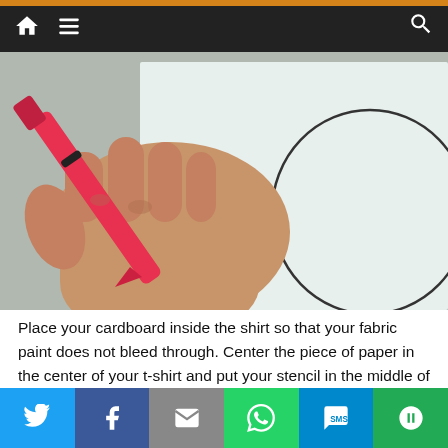Navigation bar with home, menu, and search icons
[Figure (photo): A hand holding a red marker drawing a circle outline on white paper or cardboard placed on a flat surface.]
Place your cardboard inside the shirt so that your fabric paint does not bleed through. Center the piece of paper in the center of your t-shirt and put your stencil in the middle of your cut out.
Social sharing bar: Twitter, Facebook, Email, WhatsApp, SMS, More